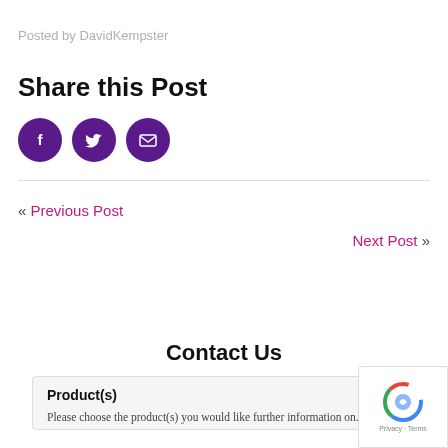Posted by DavidKempster
Share this Post
[Figure (other): Three purple circular social media icons: Facebook (f), Twitter (bird), and Email (envelope)]
« Previous Post
Next Post »
Contact Us
Product(s)
Please choose the product(s) you would like further information on.